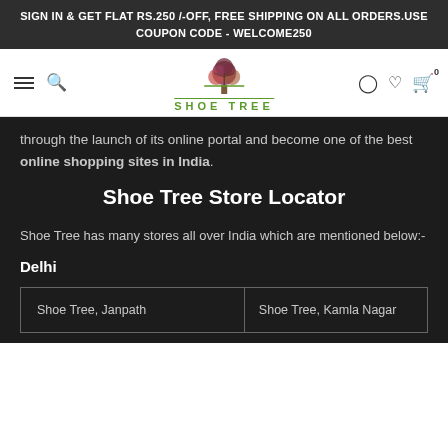SIGN IN & GET FLAT RS.250 /-OFF, FREE SHIPPING ON ALL ORDERS.USE COUPON CODE - WELCOME250
[Figure (logo): Shoe Tree logo with tree illustration and green text 'SHOE TREE']
through the launch of its online portal and become one of the best online shopping sites in India.
Shoe Tree Store Locator
Shoe Tree has many stores all over India which are mentioned below:-
Delhi
| Shoe Tree, Janpath | Shoe Tree, Kamla Nagar |